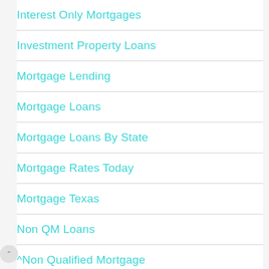Interest Only Mortgages
Investment Property Loans
Mortgage Lending
Mortgage Loans
Mortgage Loans By State
Mortgage Rates Today
Mortgage Texas
Non QM Loans
^Non Qualified Mortgage